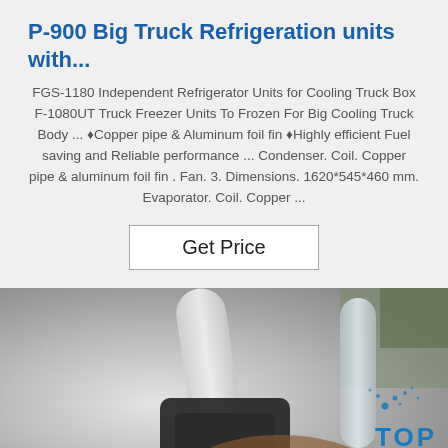P-900 Big Truck Refrigeration units with...
FGS-1180 Independent Refrigerator Units for Cooling Truck Box F-1080UT Truck Freezer Units To Frozen For Big Cooling Truck Body ... ♦Copper pipe & Aluminum foil fin ♦Highly efficient Fuel saving and Reliable performance ... Condenser. Coil. Copper pipe & aluminum foil fin . Fan. 3. Dimensions. 1620*545*460 mm. Evaporator. Coil. Copper ...
Get Price
[Figure (photo): A close-up photo of truck refrigeration unit components — white/grey pipes or tubes and a dark mechanical part being held by a hand. A blue 'TOP' watermark with dot spray pattern appears in the bottom-right corner.]